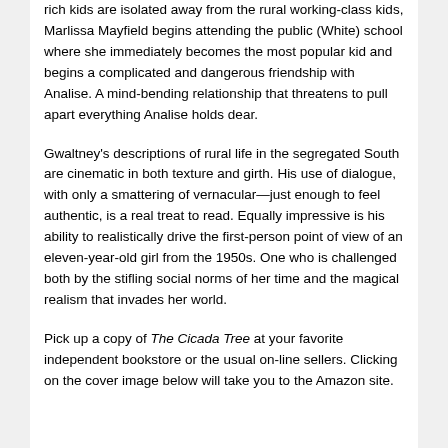rich kids are isolated away from the rural working-class kids, Marlissa Mayfield begins attending the public (White) school where she immediately becomes the most popular kid and begins a complicated and dangerous friendship with Analise. A mind-bending relationship that threatens to pull apart everything Analise holds dear.
Gwaltney's descriptions of rural life in the segregated South are cinematic in both texture and girth. His use of dialogue, with only a smattering of vernacular—just enough to feel authentic, is a real treat to read. Equally impressive is his ability to realistically drive the first-person point of view of an eleven-year-old girl from the 1950s. One who is challenged both by the stifling social norms of her time and the magical realism that invades her world.
Pick up a copy of The Cicada Tree at your favorite independent bookstore or the usual on-line sellers. Clicking on the cover image below will take you to the Amazon site.